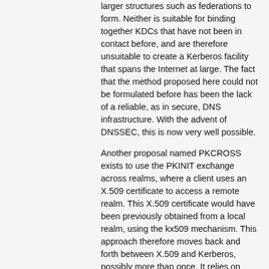larger structures such as federations to form. Neither is suitable for binding together KDCs that have not been in contact before, and are therefore unsuitable to create a Kerberos facility that spans the Internet at large. The fact that the method proposed here could not be formulated before has been the lack of a reliable, as in secure, DNS infrastructure. With the advent of DNSSEC, this is now very well possible.
Another proposal named PKCROSS exists to use the PKINIT exchange across realms, where a client uses an X.509 certificate to access a remote realm. This X.509 certificate would have been previously obtained from a local realm, using the kx509 mechanism. This approach therefore moves back and forth between X.509 and Kerberos, possibly more than once. It relies on modifications in client code.
Related Projects
We propose KXOVER as a mechanism